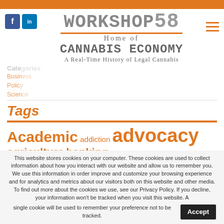Workshop58 — Home of Cannabis Economy — A Real-Time History of Legal Cannabis
Tags
Academic addiction advocacy agriculture banking business cannabinoid Cannabis Cannabis Receptor cbd Commercial community Covid-19 diversity economy
This website stores cookies on your computer. These cookies are used to collect information about how you interact with our website and allow us to remember you. We use this information in order improve and customize your browsing experience and for analytics and metrics about our visitors both on this website and other media. To find out more about the cookies we use, see our Privacy Policy. If you decline, your information won't be tracked when you visit this website. A single cookie will be used to remember your preference not to be tracked.